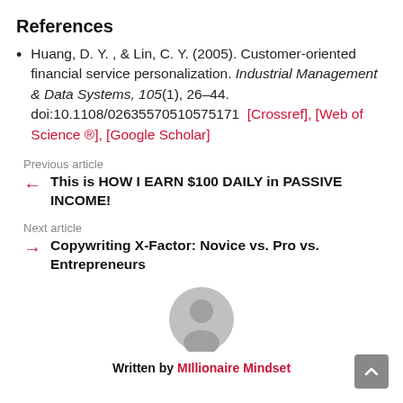References
Huang, D. Y. , & Lin, C. Y. (2005). Customer-oriented financial service personalization. Industrial Management & Data Systems, 105(1), 26–44. doi:10.1108/02635570510575171  [Crossref], [Web of Science ®], [Google Scholar]
Previous article
This is HOW I EARN $100 DAILY in PASSIVE INCOME!
Next article
Copywriting X-Factor: Novice vs. Pro vs. Entrepreneurs
[Figure (illustration): Grey circular avatar/profile icon]
Written by Millionaire Mindset